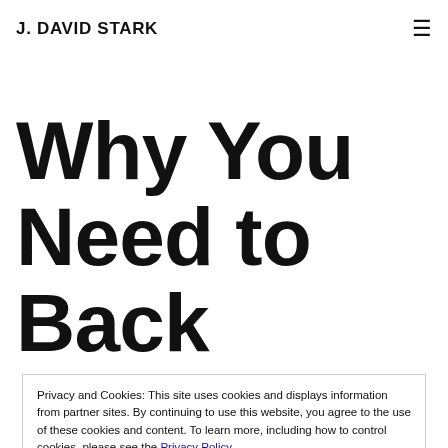J. DAVID STARK
Why You Need to Back
Privacy and Cookies: This site uses cookies and displays information from partner sites. By continuing to use this website, you agree to the use of these cookies and content. To learn more, including how to control cookies, please see the Privacy Policy
Close and accept